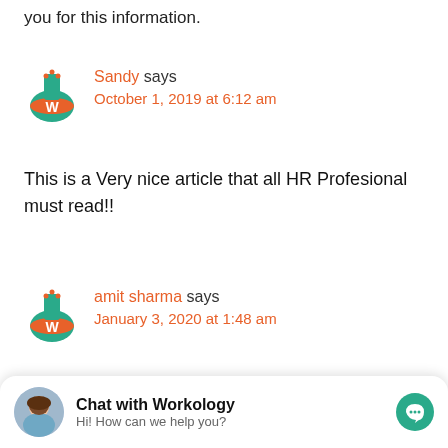you for this information.
[Figure (logo): Workology W logo avatar for Sandy]
Sandy says
October 1, 2019 at 6:12 am
This is a Very nice article that all HR Profesional must read!!
[Figure (logo): Workology W logo avatar for amit sharma]
amit sharma says
January 3, 2020 at 1:48 am
Chat with Workology
Hi! How can we help you?